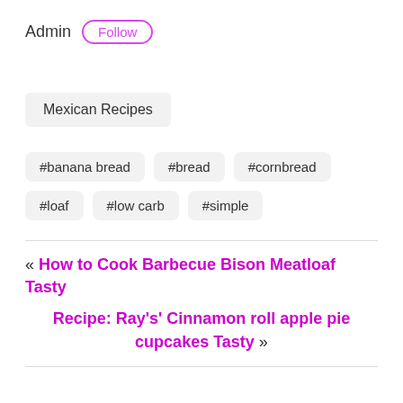Admin
Follow
Mexican Recipes
#banana bread
#bread
#cornbread
#loaf
#low carb
#simple
« How to Cook Barbecue Bison Meatloaf Tasty
Recipe: Ray's' Cinnamon roll apple pie cupcakes Tasty »